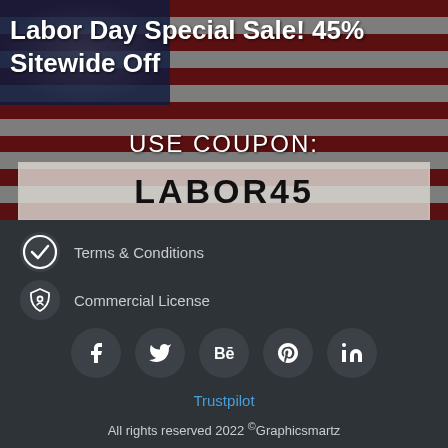Labor Day Special Sale! 45% Sitewide Off
USE COUPON:
LABOR45
Terms & Conditions
Commercial License
[Figure (infographic): Social media icons row: Facebook, Twitter, Behance, Pinterest, LinkedIn]
Trustpilot
All rights reserved 2022 ©Graphicsmartz